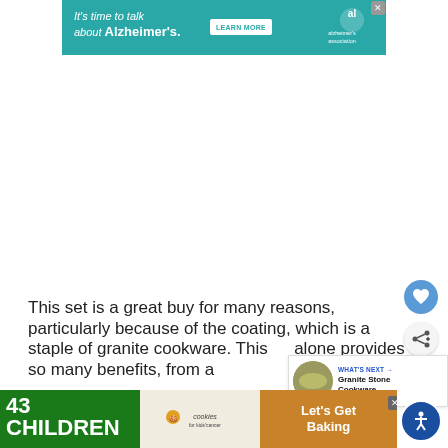[Figure (other): Alzheimer's Association advertisement banner with teal background: 'It's time to talk about Alzheimer's.' with LEARN MORE button and Alzheimer's Association logo with close X button]
This set is a great buy for many reasons, particularly because of the coating, which is a staple of granite cookware. This alone provides so many benefits, from a to n, tr
[Figure (other): What's Next panel with thumbnail image of granite stone cookware and label 'WHAT'S NEXT → Granite Stone Cookware...']
[Figure (other): Bottom advertisement banner: '43 CHILDREN A Day Are Diagnosed With Cancer in the U.S.' with cookies for kids' cancer logo and 'Let's Get Baking' text on orange background. Close X button visible. Accessibility icon button on bottom right.]